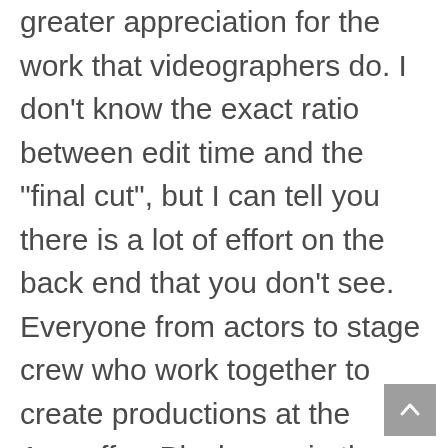greater appreciation for the work that videographers do. I don't know the exact ratio between edit time and the "final cut", but I can tell you there is a lot of effort on the back end that you don't see. Everyone from actors to stage crew who work together to create productions at the Aronoff or Playhouse in the Park deserve a great deal of praise too. I can only imagine trying to remember hundreds of lines if you are a lead actor for instance. That's focus!

A special shout out to Ed Luft with